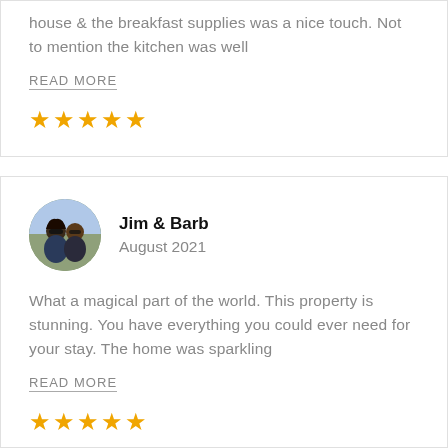house & the breakfast supplies was a nice touch. Not to mention the kitchen was well
READ MORE
[Figure (other): Five orange star rating icons]
[Figure (photo): Circular profile photo of a couple (Jim & Barb)]
Jim & Barb
August 2021
What a magical part of the world. This property is stunning. You have everything you could ever need for your stay. The home was sparkling
READ MORE
[Figure (other): Five orange star rating icons]